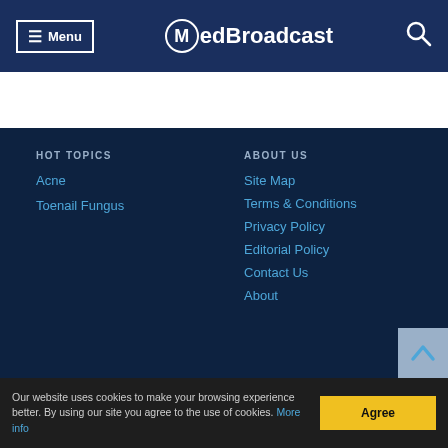Menu | MedBroadcast
HOT TOPICS
Acne
Toenail Fungus
ABOUT US
Site Map
Terms & Conditions
Privacy Policy
Editorial Policy
Contact Us
About
Our website uses cookies to make your browsing experience better. By using our site you agree to the use of cookies. More info